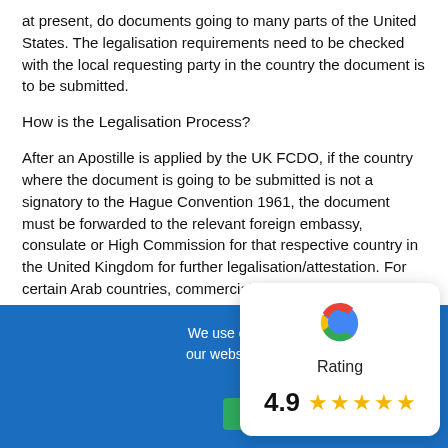at present, do documents going to many parts of the United States. The legalisation requirements need to be checked with the local requesting party in the country the document is to be submitted.
How is the Legalisation Process?
After an Apostille is applied by the UK FCDO, if the country where the document is going to be submitted is not a signatory to the Hague Convention 1961, the document must be forwarded to the relevant foreign embassy, consulate or High Commission for that respective country in the United Kingdom for further legalisation/attestation. For certain Arab countries, commercial documents may also require attestation by the London and Arab-British Chambers of Commerce prior to submission to the relevant embassy, consulate or High Commission for further legalisation.
Legalisation can be a lengthy process, very specific to the particular country, and must be strictly complied with from the beginning of the
We use cookies to ensure that we gi our website. If you continue to use th are happy w
[Figure (infographic): Google Rating card showing 4.9 stars out of 5 with 5 yellow stars displayed]